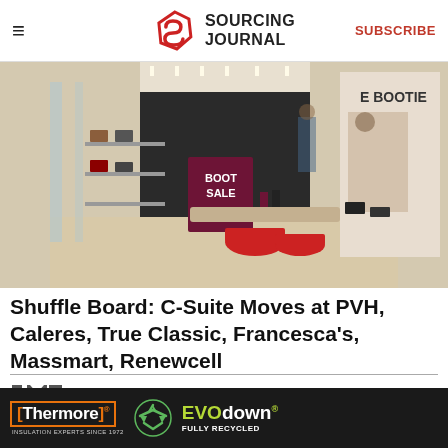SOURCING JOURNAL | SUBSCRIBE
[Figure (photo): Interior of a shoe retail store with boot sale sign, red ottomans, shelves of shoes, and a bootie advertisement poster on the right side window]
Shuffle Board: C-Suite Moves at PVH, Caleres, True Classic, Francesca's, Massmart, Renewcell
[Figure (logo): PMC logo in grey/dark text]
MOST POPULAR
[Figure (other): Thermore EVO down advertisement banner: Thermore Insulation Experts Since 1972 | recycling icon | EVO down Fully Recycled]